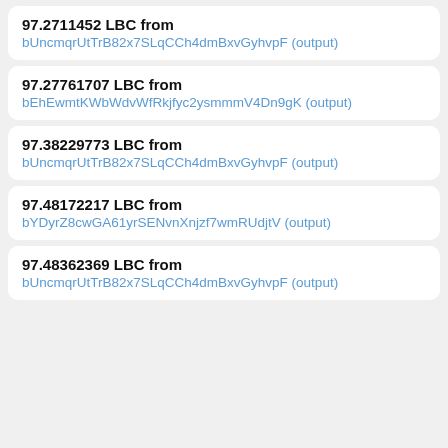97.2711452 LBC from bUncmqrUtTrB82x7SLqCCh4dmBxvGyhvpF (output)
97.27761707 LBC from bEhEwmtKWbWdvWfRkjfyc2ysmmmV4Dn9gK (output)
97.38229773 LBC from bUncmqrUtTrB82x7SLqCCh4dmBxvGyhvpF (output)
97.48172217 LBC from bYDyrZ8cwGA61yrSENvnXnjzf7wmRUdjtV (output)
97.48362369 LBC from bUncmqrUtTrB82x7SLqCCh4dmBxvGyhvpF (output)